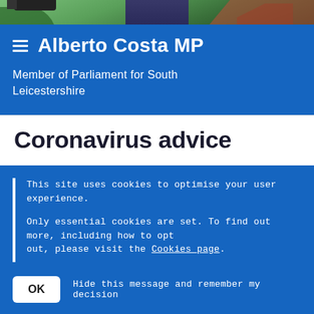[Figure (photo): Photo banner of Alberto Costa MP standing in front of a camera outdoors near buildings with green trees in background]
Alberto Costa MP
Member of Parliament for South Leicestershire
Coronavirus advice
This site uses cookies to optimise your user experience.
Only essential cookies are set. To find out more, including how to opt out, please visit the Cookies page.
OK  Hide this message and remember my decision